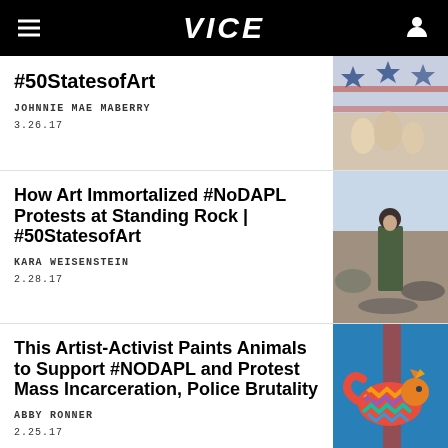VICE
#50StatesofArt
JOHNNIE MAE MABERRY
3.26.17
[Figure (photo): Colorful patriotic art with stars and figures]
How Art Immortalized #NoDAPL Protests at Standing Rock | #50StatesofArt
KARA WEISENSTEIN
2.28.17
[Figure (photo): Person standing in rocky outdoor landscape wearing dark jacket and beanie]
This Artist-Activist Paints Animals to Support #NODAPL and Protest Mass Incarceration, Police Brutality
ABBY RONNER
2.25.17
[Figure (photo): Colorful zigzag-patterned animal painting on blue background]